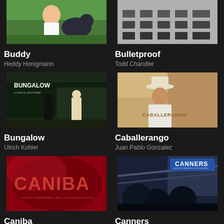[Figure (photo): Movie thumbnail for Buddy - boy with dog]
Buddy
Heddy Honigmann
[Figure (photo): Movie thumbnail for Bulletproof - classroom chairs black and white]
Bulletproof
Todd Chandler
[Figure (photo): Movie thumbnail for Bungalow - two figures in dark outdoor setting]
Bungalow
Ulrich Kohler
[Figure (photo): Movie thumbnail for Caballerango - man in cowboy hat]
Caballerango
Juan Pablo Gonzalez
[Figure (photo): Movie thumbnail for Caniba - red title card]
Caniba
Véréna Paravel and Lucien
[Figure (photo): Movie thumbnail for Canners - night scene with sculptures]
Canners
Manfred Kirchheimer